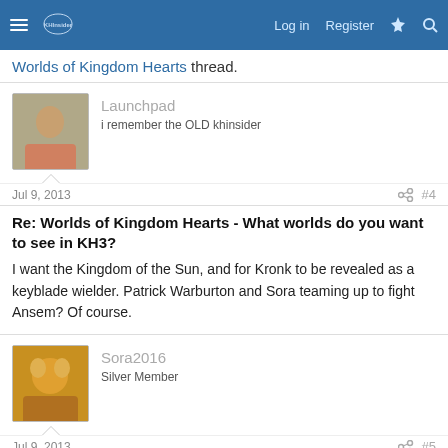KHInsider forum navigation bar with Log in, Register, and search icons
Worlds of Kingdom Hearts thread.
Launchpad
i remember the OLD khinsider
Jul 9, 2013  #4
Re: Worlds of Kingdom Hearts - What worlds do you want to see in KH3?
I want the Kingdom of the Sun, and for Kronk to be revealed as a keyblade wielder. Patrick Warburton and Sora teaming up to fight Ansem? Of course.
Sora2016
Silver Member
Jul 9, 2013  #5